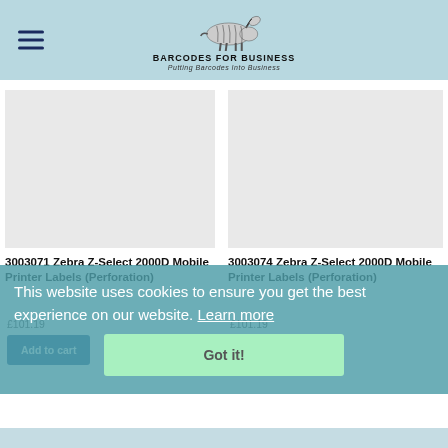Barcodes For Business — Putting Barcodes Into Business
[Figure (photo): Product image placeholder for 3003071 Zebra Z-Select 2000D Mobile Printer Labels (Perforation)]
3003071 Zebra Z-Select 2000D Mobile Printer Labels (Perforation)
£101.19
Add to cart
[Figure (photo): Product image placeholder for 3003074 Zebra Z-Select 2000D Mobile Printer Labels (Perforation)]
3003074 Zebra Z-Select 2000D Mobile Printer Labels (Perforation)
£101.19
Add to cart
This website uses cookies to ensure you get the best experience on our website. Learn more
Got it!